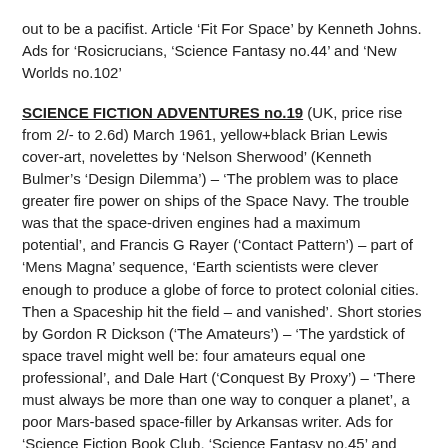out to be a pacifist. Article 'Fit For Space' by Kenneth Johns. Ads for 'Rosicrucians, 'Science Fantasy no.44' and 'New Worlds no.102'
SCIENCE FICTION ADVENTURES no.19 (UK, price rise from 2/- to 2.6d) March 1961, yellow+black Brian Lewis cover-art, novelettes by 'Nelson Sherwood' (Kenneth Bulmer's 'Design Dilemma') – 'The problem was to place greater fire power on ships of the Space Navy. The trouble was that the space-driven engines had a maximum potential', and Francis G Rayer ('Contact Pattern') – part of 'Mens Magna' sequence, 'Earth scientists were clever enough to produce a globe of force to protect colonial cities. Then a Spaceship hit the field – and vanished'. Short stories by Gordon R Dickson ('The Amateurs') – 'The yardstick of space travel might well be: four amateurs equal one professional', and Dale Hart ('Conquest By Proxy') – 'There must always be more than one way to conquer a planet', a poor Mars-based space-filler by Arkansas writer. Ads for 'Science Fiction Book Club, 'Science Fantasy no.45' and Theodore Sturgeon's serial in 'New Worlds'